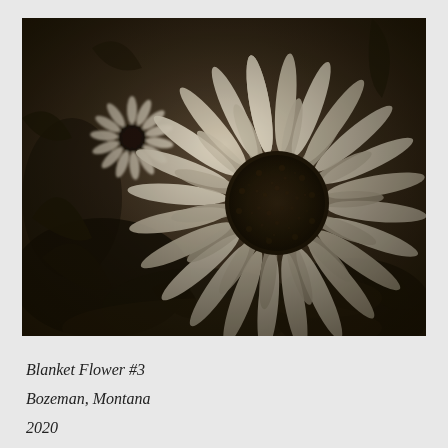[Figure (photo): Black and white (sepia-toned) photograph of two blanket flowers (Gaillardia) viewed from above. A large flower dominates the right-center of the frame with many elongated petals radiating from a dark, textured center disk. A smaller flower is visible in the upper left background. Dark foliage and soil fill the rest of the frame.]
Blanket Flower #3
Bozeman, Montana
2020